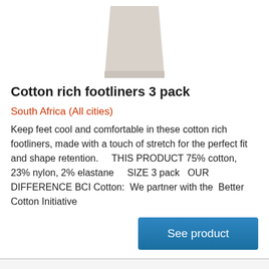[Figure (photo): Product image of cotton rich footliners sock, light beige/grey color, shown from top view, partially cropped at top]
Cotton rich footliners 3 pack
South Africa (All cities)
Keep feet cool and comfortable in these cotton rich footliners, made with a touch of stretch for the perfect fit and shape retention.    THIS PRODUCT 75% cotton, 23% nylon, 2% elastane    SIZE 3 pack   OUR DIFFERENCE BCI Cotton:  We partner with the  Better Cotton Initiative
[Figure (logo): Partial view of a logo with large grey letters, bottom of page, dark background strip]